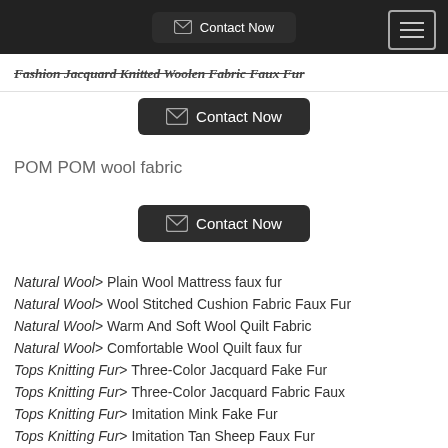Contact Now
Fashion Jacquard Knitted Woolen Fabric Faux Fur
[Figure (other): Contact Now button]
POM POM wool fabric
[Figure (other): Contact Now button]
Natural Wool> Plain Wool Mattress faux fur
Natural Wool> Wool Stitched Cushion Fabric Faux Fur
Natural Wool> Warm And Soft Wool Quilt Fabric
Natural Wool> Comfortable Wool Quilt faux fur
Tops Knitting Fur> Three-Color Jacquard Fake Fur
Tops Knitting Fur> Three-Color Jacquard Fabric Faux
Tops Knitting Fur> Imitation Mink Fake Fur
Tops Knitting Fur> Imitation Tan Sheep Faux Fur